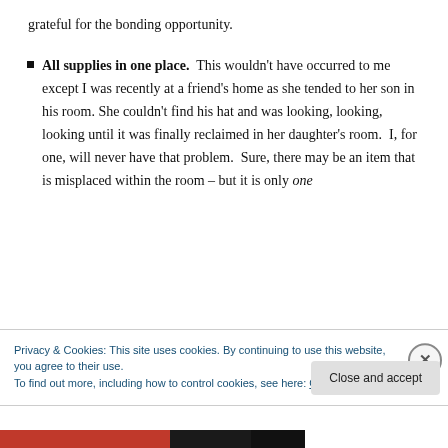grateful for the bonding opportunity.
All supplies in one place. This wouldn't have occurred to me except I was recently at a friend's home as she tended to her son in his room. She couldn't find his hat and was looking, looking, looking until it was finally reclaimed in her daughter's room. I, for one, will never have that problem. Sure, there may be an item that is misplaced within the room – but it is only one
Privacy & Cookies: This site uses cookies. By continuing to use this website, you agree to their use.
To find out more, including how to control cookies, see here: Cookie Policy
Close and accept